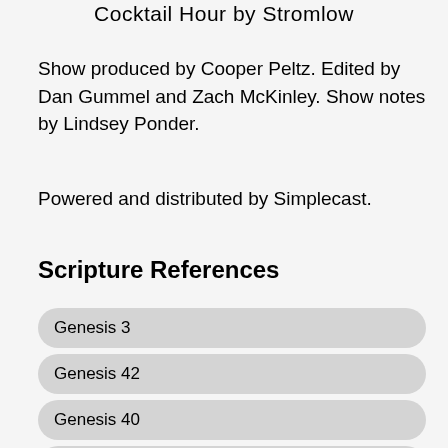Cocktail Hour by Stromlow
Show produced by Cooper Peltz. Edited by Dan Gummel and Zach McKinley. Show notes by Lindsey Ponder.
Powered and distributed by Simplecast.
Scripture References
Genesis 3
Genesis 42
Genesis 40
Genesis 1:2
Genesis 23
Genesis 22